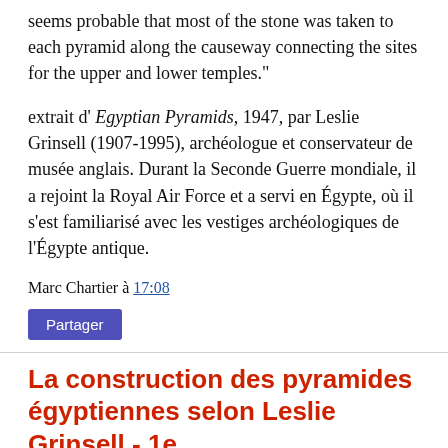seems probable that most of the stone was taken to each pyramid along the causeway connecting the sites for the upper and lower temples."
extrait d' Egyptian Pyramids, 1947, par Leslie Grinsell (1907-1995), archéologue et conservateur de musée anglais. Durant la Seconde Guerre mondiale, il a rejoint la Royal Air Force et a servi en Égypte, où il s'est familiarisé avec les vestiges archéologiques de l'Égypte antique.
Marc Chartier à 17:08
Partager
La construction des pyramides égyptiennes selon Leslie Grinsell - 1e